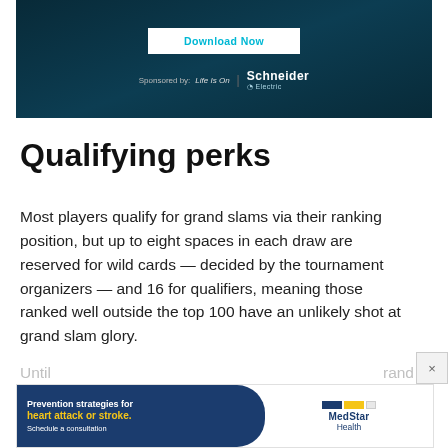[Figure (other): Advertisement banner for Schneider Electric with 'Download Now' button on dark teal background. Text reads 'Sponsored by: Life Is On | Schneider Electric']
Qualifying perks
Most players qualify for grand slams via their ranking position, but up to eight spaces in each draw are reserved for wild cards — decided by the tournament organizers — and 16 for qualifiers, meaning those ranked well outside the top 100 have an unlikely shot at grand slam glory.
[Figure (other): Advertisement banner for MedStar Health. Left side dark blue rounded pill shape: 'Prevention strategies for heart attack or stroke. Schedule a consultation.' Right side: MedStar Health logo with colored bars.]